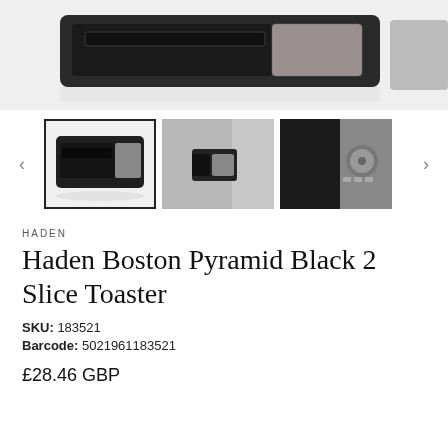[Figure (photo): Top portion of a black and silver toaster against a light grey/white background, partially cropped]
[Figure (photo): Three thumbnail images of the Haden Boston Pyramid Black 2 Slice Toaster from different angles. First thumbnail (active/selected) shows front view, second shows side/corner view with grey background, third shows close-up of control panel side.]
HADEN
Haden Boston Pyramid Black 2 Slice Toaster
SKU: 183521
Barcode: 5021961183521
£28.46 GBP